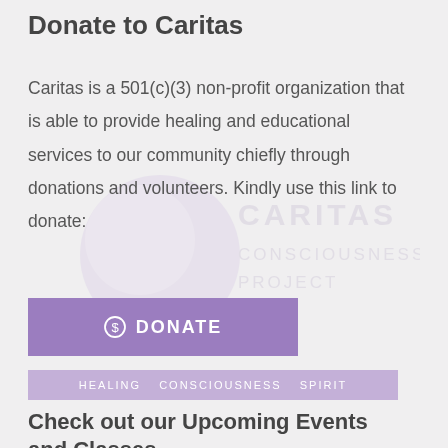Donate to Caritas
Caritas is a 501(c)(3) non-profit organization that is able to provide healing and educational services to our community chiefly through donations and volunteers. Kindly use this link to donate:
[Figure (logo): Caritas Consciousness Project watermark logo with circular emblem and text]
[Figure (other): Purple donate button with dollar sign icon and DONATE label]
HEALING   CONSCIOUSNESS   SPIRIT
Check out our Upcoming Events and Classes
[Figure (other): Purple events button with grid icon and EVENTS label]